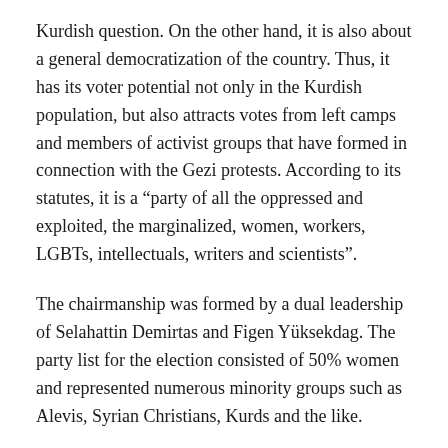Kurdish question. On the other hand, it is also about a general democratization of the country. Thus, it has its voter potential not only in the Kurdish population, but also attracts votes from left camps and members of activist groups that have formed in connection with the Gezi protests. According to its statutes, it is a “party of all the oppressed and exploited, the marginalized, women, workers, LGBTs, intellectuals, writers and scientists”.
The chairmanship was formed by a dual leadership of Selahattin Demirtas and Figen Yüksekdag. The party list for the election consisted of 50% women and represented numerous minority groups such as Alevis, Syrian Christians, Kurds and the like.
Selahattin Demirtas was already running as a candidate for Recep Tayip Erdogan in the course of the election for